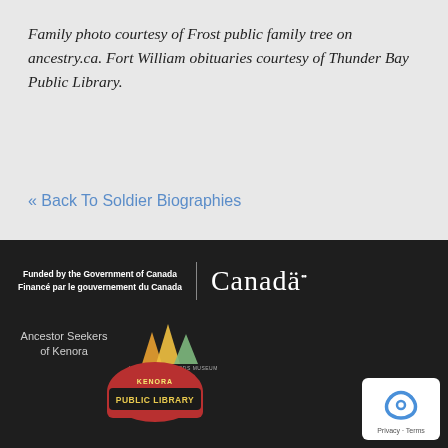Family photo courtesy of Frost public family tree on ancestry.ca. Fort William obituaries courtesy of Thunder Bay Public Library.
« Back To Soldier Biographies
[Figure (logo): Government of Canada / Canada wordmark logo on dark background]
[Figure (logo): Ancestor Seekers of Kenora text logo]
[Figure (logo): Lake of the Woods Museum logo with colorful tower shapes]
[Figure (logo): Kenora Public Library circular logo]
[Figure (logo): reCAPTCHA privacy badge with Privacy - Terms text]